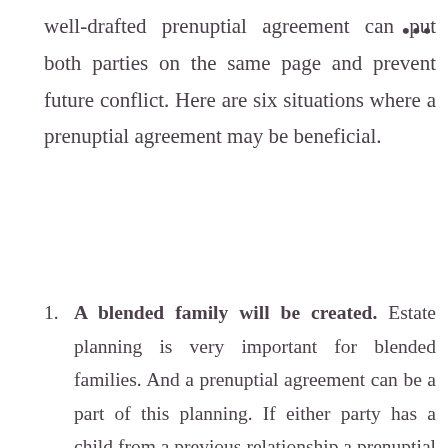well-drafted prenuptial agreement can put both parties on the same page and prevent future conflict. Here are six situations where a prenuptial agreement may be beneficial.
A blended family will be created. Estate planning is very important for blended families. And a prenuptial agreement can be a part of this planning. If either party has a child from a previous relationship a prenuptial agreement can protect an inheritance for that child.